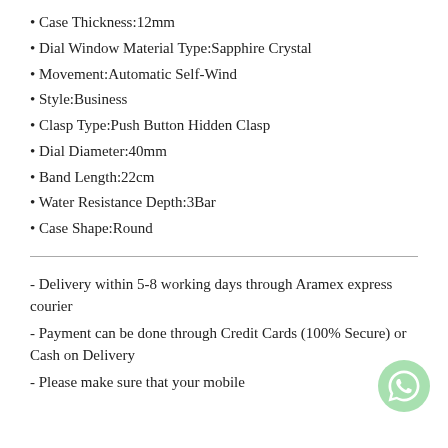• Case Thickness:12mm
• Dial Window Material Type:Sapphire Crystal
• Movement:Automatic Self-Wind
• Style:Business
• Clasp Type:Push Button Hidden Clasp
• Dial Diameter:40mm
• Band Length:22cm
• Water Resistance Depth:3Bar
• Case Shape:Round
- Delivery within 5-8 working days through Aramex express courier
- Payment can be done through Credit Cards (100% Secure) or Cash on Delivery
- Please make sure that your mobile